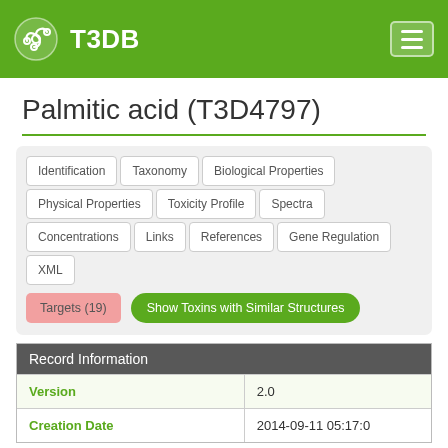T3DB
Palmitic acid (T3D4797)
Identification | Taxonomy | Biological Properties | Physical Properties | Toxicity Profile | Spectra | Concentrations | Links | References | Gene Regulation | XML
Targets (19) | Show Toxins with Similar Structures
| Record Information |  |
| --- | --- |
| Version | 2.0 |
| Creation Date | 2014-09-11 05:17:0 |